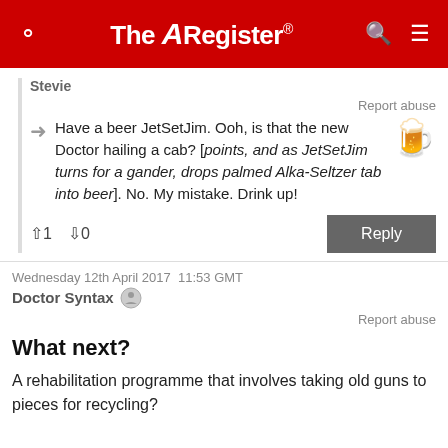The Register
Stevie
Report abuse
Have a beer JetSetJim. Ooh, is that the new Doctor hailing a cab? [points, and as JetSetJim turns for a gander, drops palmed Alka-Seltzer tab into beer]. No. My mistake. Drink up!
↑1  ↓0   Reply
Wednesday 12th April 2017 11:53 GMT
Doctor Syntax
Report abuse
What next?
A rehabilitation programme that involves taking old guns to pieces for recycling?